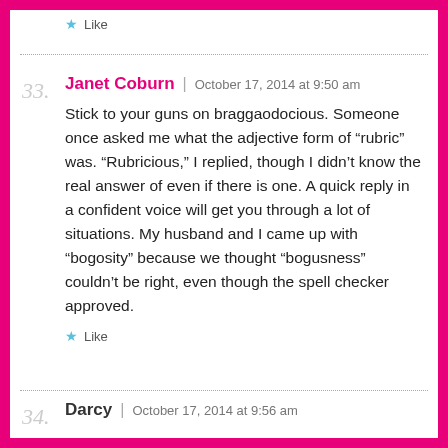Like
Janet Coburn | October 17, 2014 at 9:50 am
Stick to your guns on braggaodocious. Someone once asked me what the adjective form of “rubric” was. “Rubricious,” I replied, though I didn’t know the real answer of even if there is one. A quick reply in a confident voice will get you through a lot of situations. My husband and I came up with “bogosity” because we thought “bogusness” couldn’t be right, even though the spell checker approved.
Like
Darcy | October 17, 2014 at 9:56 am